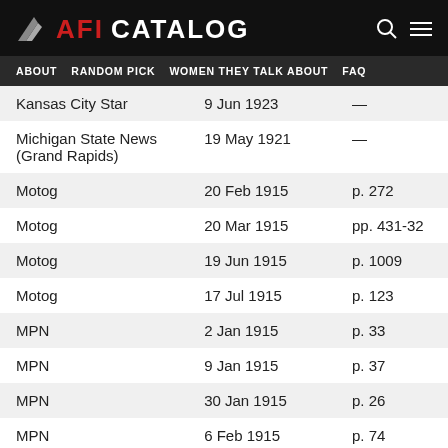AFI CATALOG
ABOUT   RANDOM PICK   WOMEN THEY TALK ABOUT   FAQ
|  |  |  |
| --- | --- | --- |
| Kansas City Star | 9 Jun 1923 | — |
| Michigan State News (Grand Rapids) | 19 May 1921 | — |
| Motog | 20 Feb 1915 | p. 272 |
| Motog | 20 Mar 1915 | pp. 431-32 |
| Motog | 19 Jun 1915 | p. 1009 |
| Motog | 17 Jul 1915 | p. 123 |
| MPN | 2 Jan 1915 | p. 33 |
| MPN | 9 Jan 1915 | p. 37 |
| MPN | 30 Jan 1915 | p. 26 |
| MPN | 6 Feb 1915 | p. 74 |